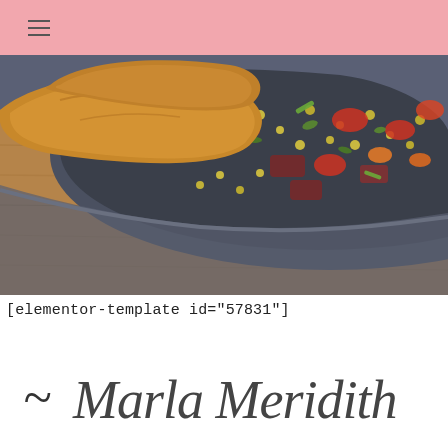navigation header with hamburger menu
[Figure (photo): Close-up photo of a cast iron or ceramic pan containing a stew or casserole with lentils, diced tomatoes, carrots, bacon or cured meat pieces, green onions, and herbs, with toasted or seared bread pieces on top, placed on a wooden table surface.]
[elementor-template id="57831"]
[Figure (illustration): Cursive handwritten script signature reading '~ Marla Meridith' in a flowing cursive font]